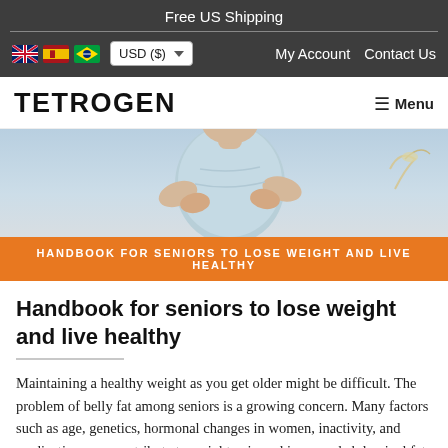Free US Shipping
USD ($)   My Account   Contact Us
TETROGEN
[Figure (photo): Person holding their torso/belly area, wearing a light blue top, photographed from mid-torso up with soft lighting]
HANDBOOK FOR SENIORS TO LOSE WEIGHT AND LIVE HEALTHY
Handbook for seniors to lose weight and live healthy
Maintaining a healthy weight as you get older might be difficult. The problem of belly fat among seniors is a growing concern. Many factors such as age, genetics, hormonal changes in women, inactivity, and medications can contribute to weight gain and increased abdominal fat. This blog provides helpful